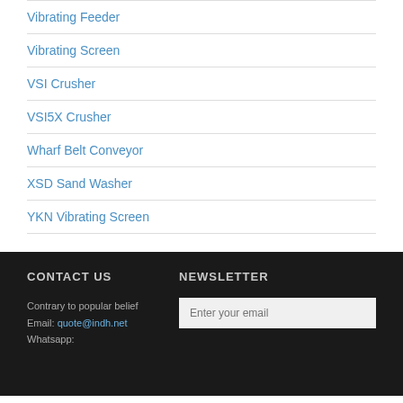Vibrating Feeder
Vibrating Screen
VSI Crusher
VSI5X Crusher
Wharf Belt Conveyor
XSD Sand Washer
YKN Vibrating Screen
CONTACT US
Contrary to popular belief
Email: quote@indh.net
Whatsapp:
NEWSLETTER
Enter your email